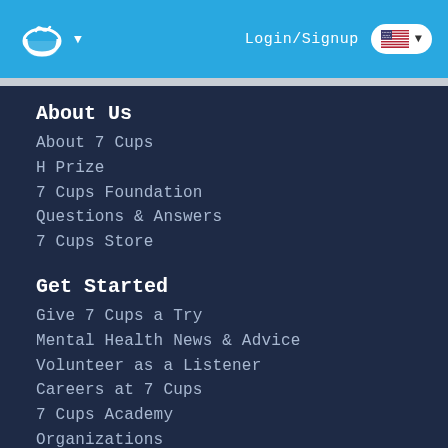7 Cups — Login/Signup — US Flag
About Us
About 7 Cups
H Prize
7 Cups Foundation
Questions & Answers
7 Cups Store
Get Started
Give 7 Cups a Try
Mental Health News & Advice
Volunteer as a Listener
Careers at 7 Cups
7 Cups Academy
Organizations
Our Support Community
Online Therapy
Considering Therapy?